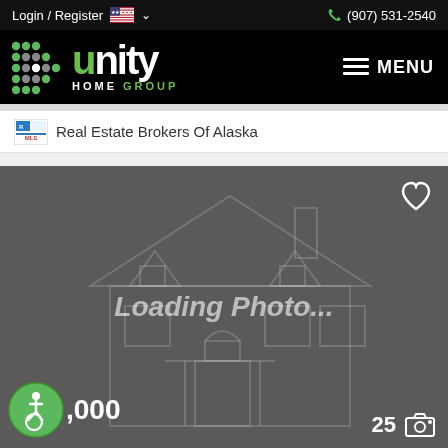Login / Register  (907) 531-2540
[Figure (logo): Unity Home Group logo with grid dot pattern and green/white text]
Real Estate Brokers Of Alaska
[Figure (photo): Loading Photo... placeholder with house outline silhouette, heart icon top right, accessibility icon and price (,000) bottom left, 25 camera count bottom right]